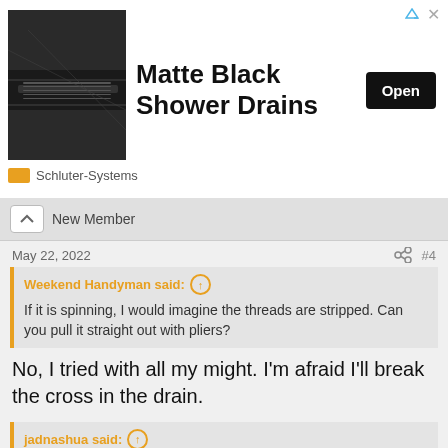[Figure (infographic): Advertisement banner for Matte Black Shower Drains by Schluter-Systems with product image, bold headline, and Open button]
New Member
May 22, 2022
#4
Weekend Handyman said: ↑
If it is spinning, I would imagine the threads are stripped. Can you pull it straight out with pliers?
No, I tried with all my might. I'm afraid I'll break the cross in the drain.
jadnashua said: ↑
For a tub to drop that much, I'm wondering how much of the floor is still intact! If things have been leaking for a long time, there may be little underneath holding it up.
Usually, there is a ledger board on the long side against the wall to...